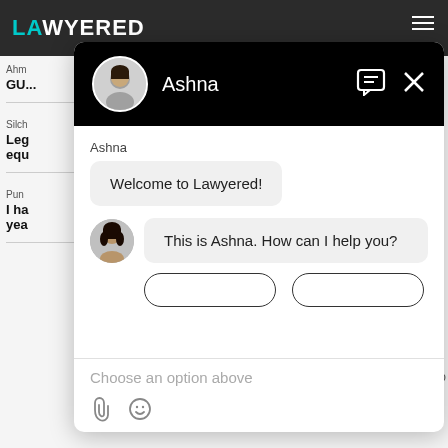[Figure (screenshot): Lawyered website chat widget screenshot showing a chat with an agent named Ashna. The modal has a black header with avatar and name, chat bubbles saying 'Welcome to Lawyered!' and 'This is Ashna. How can I help you?', option buttons, and a 'Choose an option above' placeholder in the input area.]
Ashna
Welcome to Lawyered!
This is Ashna. How can I help you?
Choose an option above